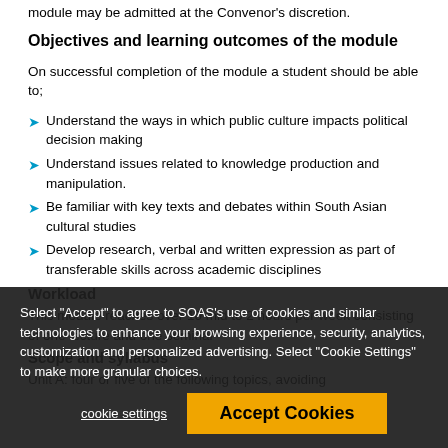module may be admitted at the Convenor's discretion.
Objectives and learning outcomes of the module
On successful completion of the module a student should be able to;
Understand the ways in which public culture impacts political decision making
Understand issues related to knowledge production and manipulation.
Be familiar with key texts and debates within South Asian cultural studies
Develop research, verbal and written expression as part of transferable skills across academic disciplines
Workload
This module reaches over 10 mid to 2 hours per week consisting of one lecture and one seminar
Scope and syllabus
Unit A: four or five of the following topics, avoiding
Select "Accept" to agree to SOAS's use of cookies and similar technologies to enhance your browsing experience, security, analytics, customization and personalized advertising. Select "Cookie Settings" to make more granular choices.